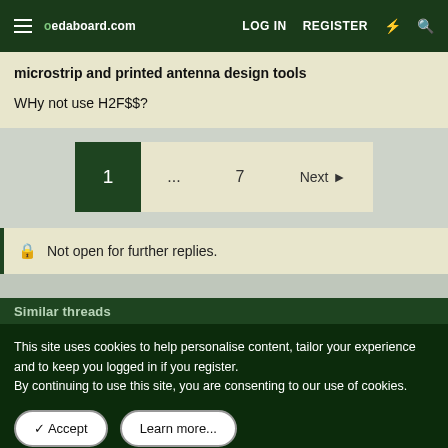edaboard.com — LOG IN   REGISTER
microstrip and printed antenna design tools
WHy not use H2F$$?
Pagination: 1 ... 7 Next
Not open for further replies.
Similar threads
This site uses cookies to help personalise content, tailor your experience and to keep you logged in if you register.
By continuing to use this site, you are consenting to our use of cookies.